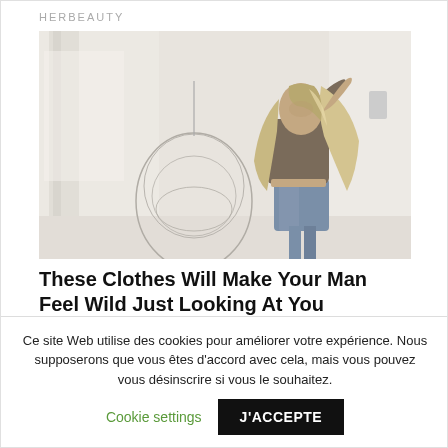HERBEAUTY
[Figure (photo): Young woman with long blonde hair posing in a bright white room, wearing a brown crop top and denim cutoff shorts, with a decorative hanging egg chair in the background.]
These Clothes Will Make Your Man Feel Wild Just Looking At You
Ce site Web utilise des cookies pour améliorer votre expérience. Nous supposerons que vous êtes d'accord avec cela, mais vous pouvez vous désinscrire si vous le souhaitez.
Cookie settings
J'ACCEPTE